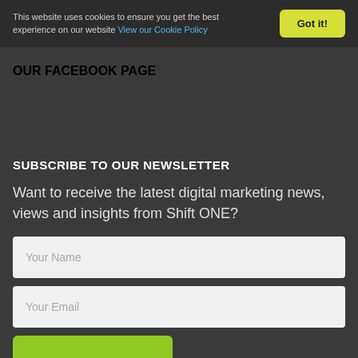This website uses cookies to ensure you get the best experience on our website View our Cookie Policy  Got it!
OUR FACEBOOK PAGE
SUBSCRIBE TO OUR NEWSLETTER
Want to receive the latest digital marketing news, views and insights from Shift ONE?
Your Name
Your Email